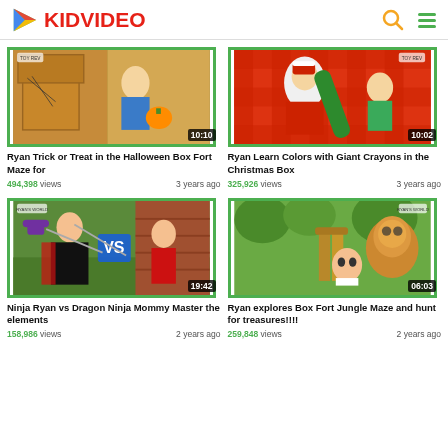KIDVIDEO
[Figure (screenshot): Video thumbnail: Ryan Trick or Treat in the Halloween Box Fort Maze, duration 10:10]
Ryan Trick or Treat in the Halloween Box Fort Maze for
494,398 views   3 years ago
[Figure (screenshot): Video thumbnail: Ryan Learn Colors with Giant Crayons in the Christmas Box, duration 10:02]
Ryan Learn Colors with Giant Crayons in the Christmas Box
325,926 views   3 years ago
[Figure (screenshot): Video thumbnail: Ninja Ryan vs Dragon Ninja Mommy Master the elements, duration 19:42]
Ninja Ryan vs Dragon Ninja Mommy Master the elements
158,986 views   2 years ago
[Figure (screenshot): Video thumbnail: Ryan explores Box Fort Jungle Maze and hunt for treasures!!!!, duration 06:03]
Ryan explores Box Fort Jungle Maze and hunt for treasures!!!!
259,848 views   2 years ago